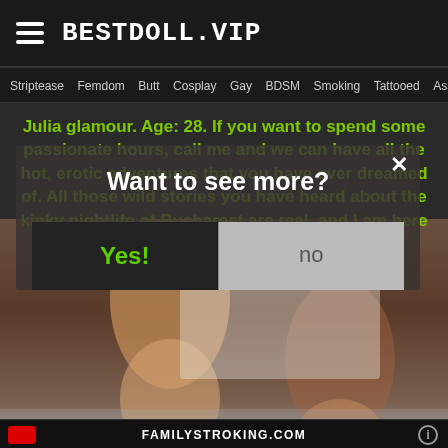BESTDOLL.VIP
Striptease Femdom Butt Cosplay Gay BDSM Smoking Tattooed Asshole Fetish
Julia glamour. Age: 28. If you want to spend some passionate hours, call me and we can have all the hot, erotic adventures that you have ever dreamed of. All those wild stories you have heard about the kinky nightlife of Bucharest are real, and I am here to give you the experience
[Figure (photo): Adult content photo background — two figures on a bed, dimly lit scene]
Want to see more?
Yes!
no
FAMILYSTROKING.COM